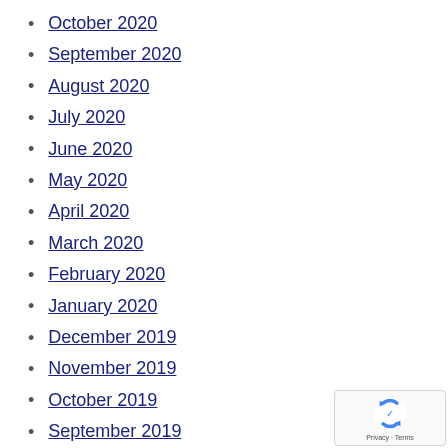October 2020
September 2020
August 2020
July 2020
June 2020
May 2020
April 2020
March 2020
February 2020
January 2020
December 2019
November 2019
October 2019
September 2019
[Figure (logo): Google reCAPTCHA badge with logo and Privacy/Terms links]